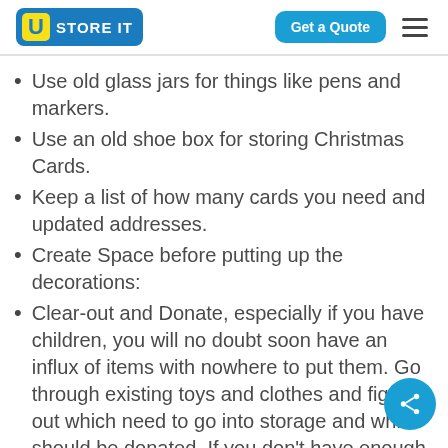U STORE IT | Get a Quote
Use old glass jars for things like pens and markers.
Use an old shoe box for storing Christmas Cards.
Keep a list of how many cards you need and updated addresses.
Create Space before putting up the decorations:
Clear-out and Donate, especially if you have children, you will no doubt soon have an influx of items with nowhere to put them. Go through existing toys and clothes and figure out which need to go into storage and which should be donated. If you don't have enough storage space then may consider